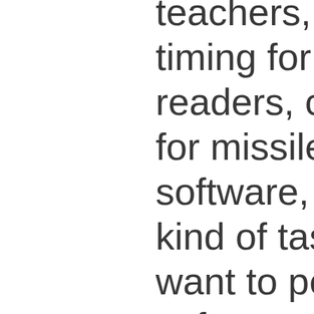teachers, editing and timing for TV news readers, control software for missiles… any kind of software, fostering any kind of task that humans want to perform. The software might be developed in a reflective or relaxed timeframe, or under extreme time pressure. The quality of the automated tests might be extremely high, and the skills of the testers very low; the testers might be investgating subtle or